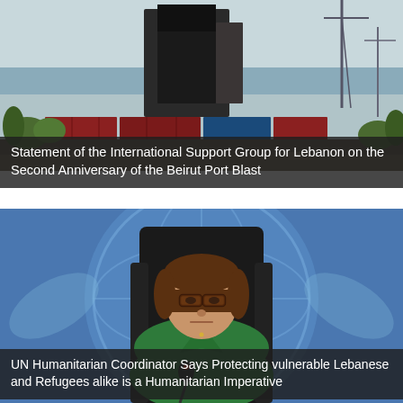[Figure (photo): Damaged Beirut port silos and surrounding destruction after the Beirut Port Blast, with cranes and shipping containers visible in the background.]
Statement of the International Support Group for Lebanon on the Second Anniversary of the Beirut Port Blast
[Figure (photo): UN official woman with brown hair and glasses wearing a green blazer seated in front of a UN logo background with a microphone on the table.]
UN Humanitarian Coordinator Says Protecting vulnerable Lebanese and Refugees alike is a Humanitarian Imperative